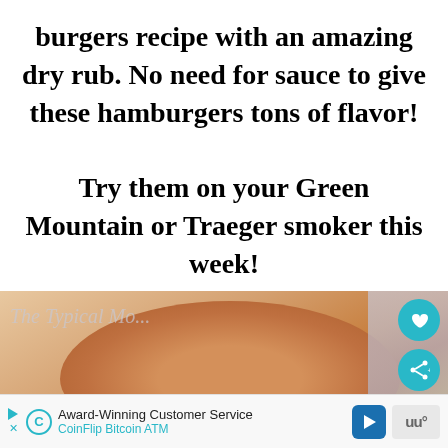burgers recipe with an amazing dry rub. No need for sauce to give these hamburgers tons of flavor! Try them on your Green Mountain or Traeger smoker this week!
[Figure (photo): Close-up photo of a smoked hamburger/burger with bun, showing food watermark 'The Typical Mo...' partially visible, with social sharing buttons (heart, share) and a 'What's Next: Smoked Bacon...' overlay thumbnail in the corner]
Award-Winning Customer Service CoinFlip Bitcoin ATM